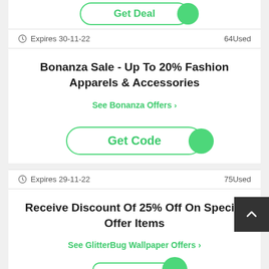[Figure (other): Get Deal button with green border and green circle on right side (partially visible at top)]
Expires 30-11-22   64Used
Bonanza Sale - Up To 20% Fashion Apparels & Accessories
See Bonanza Offers >
[Figure (other): Get Code button with green border and green circle on right side]
Expires 29-11-22   75Used
Receive Discount Of 25% Off On Special Offer Items
See GlitterBug Wallpaper Offers >
[Figure (other): Partially visible Get Code button at bottom]